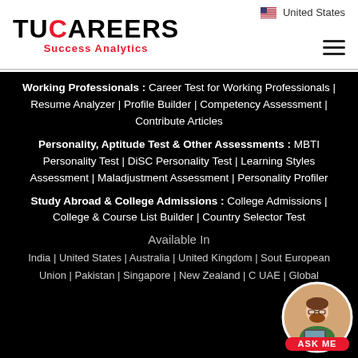[Figure (logo): TuCareers Success Analytics logo with red and black text]
United States
Working Professionals : Career Test for Working Professionals | Resume Analyzer | Profile Builder | Competency Assessment | Contribute Articles
Personality, Aptitude Test & Other Assessments : MBTI Personality Test | DiSC Personality Test | Learning Styles Assessment | Maladjustment Assessment | Personality Profiler
Study Abroad & College Admissions : College Admissions | College & Course List Builder | Country Selector Test
Available In
India | United States | Australia | United Kingdom | South Africa | European Union | Pakistan | Singapore | New Zealand | Canada | UAE | Global